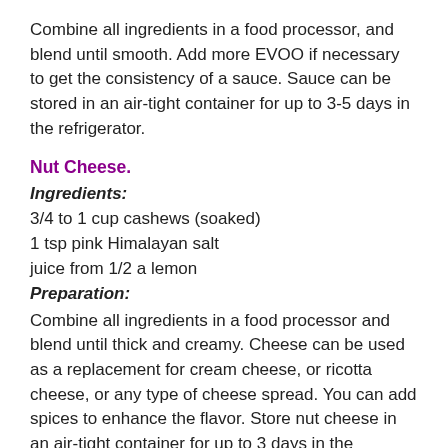Combine all ingredients in a food processor, and blend until smooth. Add more EVOO if necessary to get the consistency of a sauce. Sauce can be stored in an air-tight container for up to 3-5 days in the refrigerator.
Nut Cheese.
Ingredients:
3/4 to 1 cup cashews (soaked)
1 tsp pink Himalayan salt
juice from 1/2 a lemon
Preparation:
Combine all ingredients in a food processor and blend until thick and creamy. Cheese can be used as a replacement for cream cheese, or ricotta cheese, or any type of cheese spread. You can add spices to enhance the flavor. Store nut cheese in an air-tight container for up to 3 days in the refrigerator.
Other ingredients: